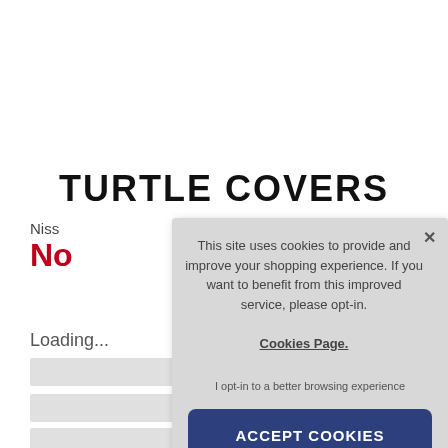TURTLE COVERS
Niss
No
Loading...
[Figure (screenshot): Cookie consent modal overlay with text: 'This site uses cookies to provide and improve your shopping experience. If you want to benefit from this improved service, please opt-in. Cookies Page. I opt-in to a better browsing experience' and an 'ACCEPT COOKIES' button.]